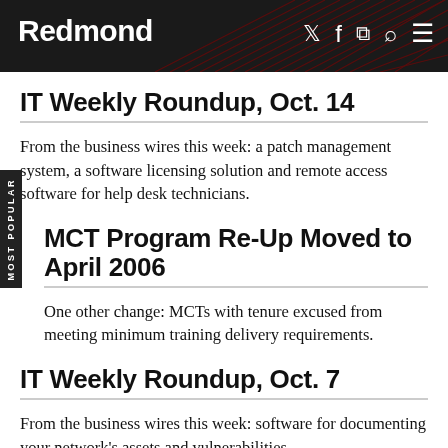Redmond
IT Weekly Roundup, Oct. 14
From the business wires this week: a patch management system, a software licensing solution and remote access software for help desk technicians.
MCT Program Re-Up Moved to April 2006
One other change: MCTs with tenure excused from meeting minimum training delivery requirements.
IT Weekly Roundup, Oct. 7
From the business wires this week: software for documenting your network's assets and vulnerabilities